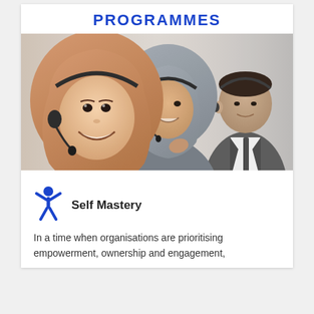PROGRAMMES
[Figure (photo): Three call-centre workers wearing headset microphones and smiling; two women in hijabs (one in a tan/brown hijab in the foreground, one in grey hijab in the middle), and a man in a suit in the background.]
Self Mastery
In a time when organisations are prioritising empowerment, ownership and engagement,